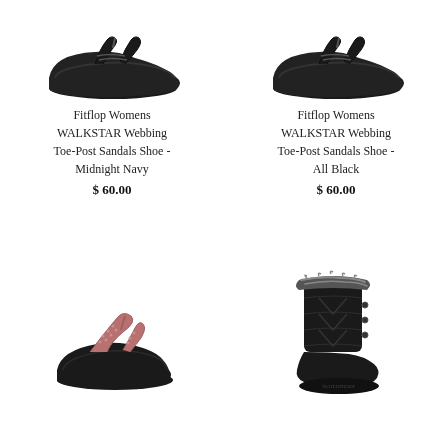[Figure (photo): Black Fitflop WALKSTAR Webbing Toe-Post sandal, top-left product]
Fitflop Womens WALKSTAR Webbing Toe-Post Sandals Shoe - Midnight Navy
$ 60.00
[Figure (photo): Black Fitflop WALKSTAR Webbing Toe-Post sandal, top-right product]
Fitflop Womens WALKSTAR Webbing Toe-Post Sandals Shoe - All Black
$ 60.00
[Figure (photo): Pink/rose glitter Fitflop toe-post sandal, bottom-left product]
[Figure (photo): Black winter boot with fur trim, bottom-right product]